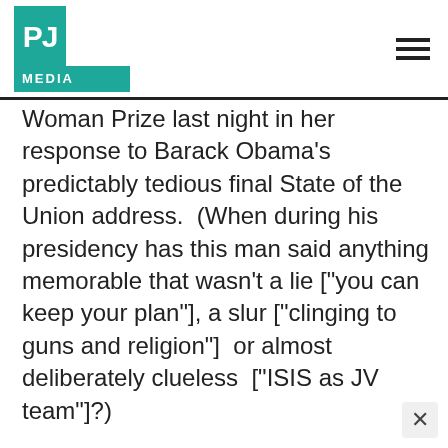PJ MEDIA
Woman Prize last night in her response to Barack Obama's predictably tedious final State of the Union address.  (When during his presidency has this man said anything memorable that wasn't a lie ["you can keep your plan"], a slur ["clinging to guns and religion"]  or almost deliberately clueless  ["ISIS as JV team"]?)